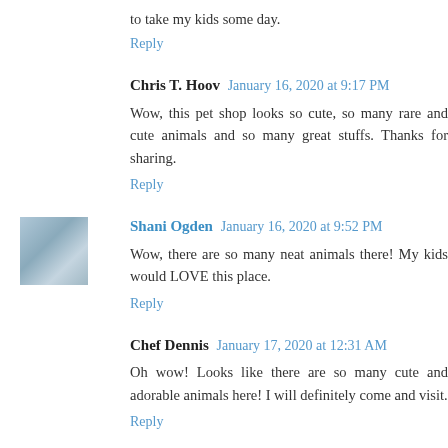to take my kids some day.
Reply
Chris T. Hoov  January 16, 2020 at 9:17 PM
Wow, this pet shop looks so cute, so many rare and cute animals and so many great stuffs. Thanks for sharing.
Reply
Shani Ogden  January 16, 2020 at 9:52 PM
Wow, there are so many neat animals there! My kids would LOVE this place.
Reply
Chef Dennis  January 17, 2020 at 12:31 AM
Oh wow! Looks like there are so many cute and adorable animals here! I will definitely come and visit.
Reply